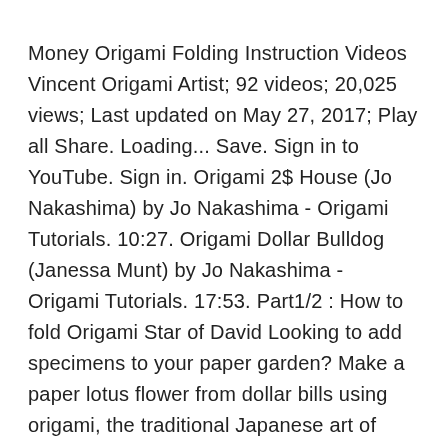Money Origami Folding Instruction Videos Vincent Origami Artist; 92 videos; 20,025 views; Last updated on May 27, 2017; Play all Share. Loading... Save. Sign in to YouTube. Sign in. Origami 2$ House (Jo Nakashima) by Jo Nakashima - Origami Tutorials. 10:27. Origami Dollar Bulldog (Janessa Munt) by Jo Nakashima - Origami Tutorials. 17:53. Part1/2 : How to fold Origami Star of David Looking to add specimens to your paper garden? Make a paper lotus flower from dollar bills using origami, the traditional Japanese art of paper folding. This free origami video lesson presents complete instructions for making your own dollar-bill lotus flowers from ...